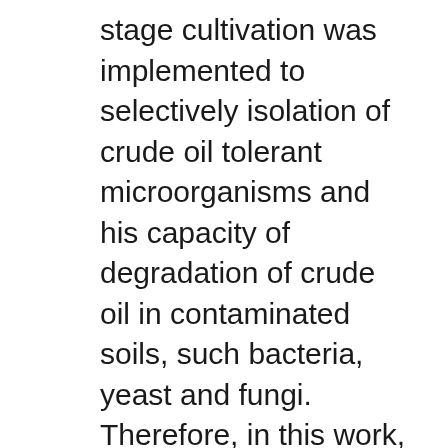stage cultivation was implemented to selectively isolation of crude oil tolerant microorganisms and his capacity of degradation of crude oil in contaminated soils, such bacteria, yeast and fungi. Therefore, in this work, we isolate different microorganisms, which grow in presence of petroleum as the sole carbon source and we
09.11.2016B B· The use of microorganisms in remediating environmental contaminants such as crude oil sludge has become a promising technique owing to its economy and the fact it is environmentally friendly. Polycyclic aromatic hydrocarbons (PAHs), as the